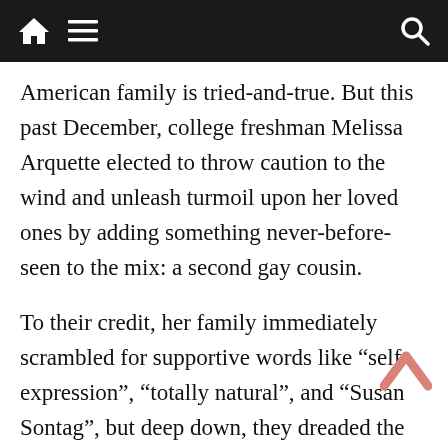[navigation bar with home, menu, and search icons]
American family is tried-and-true. But this past December, college freshman Melissa Arquette elected to throw caution to the wind and unleash turmoil upon her loved ones by adding something never-before-seen to the mix: a second gay cousin.
To their credit, her family immediately scrambled for supportive words like “self-expression”, “totally natural”, and “Susan Sontag”, but deep down, they dreaded the logistical consequences of Arquette’s Sapphic surprise.
“She’s throwing off my ratios,” grumbled Nate